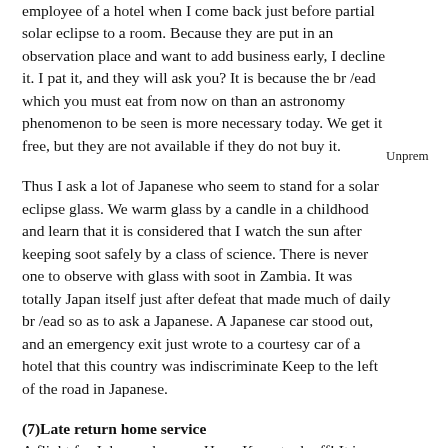employee of a hotel when I come back just before partial solar eclipse to a room. Because they are put in an observation place and want to add business early, I decline it. I pat it, and they will ask you? It is because the br /ead which you must eat from now on than an astronomy phenomenon to be seen is more necessary today. We get it free, but they are not available if they do not buy it.
Unprem
Thus I ask a lot of Japanese who seem to stand for a solar eclipse glass. We warm glass by a candle in a childhood and learn that it is considered that I watch the sun after keeping soot safely by a class of science. There is never one to observe with glass with soot in Zambia. It was totally Japan itself just after defeat that made much of daily br /ead so as to ask a Japanese. A Japanese car stood out, and an emergency exit just wrote to a courtesy car of a hotel that this country was indiscriminate Keep to the left of the road in Japanese.
Unprem
(7)Late return home service
A flight for Johannesburg → Hong Kong took off! It is a landing in an island such as Mauritius of the Indian Ocean! ? Fuel of an airplane is left, and filling up with gas it like the few here for one hour. We shut ourselves up in an island of sightseeing without it being appeared